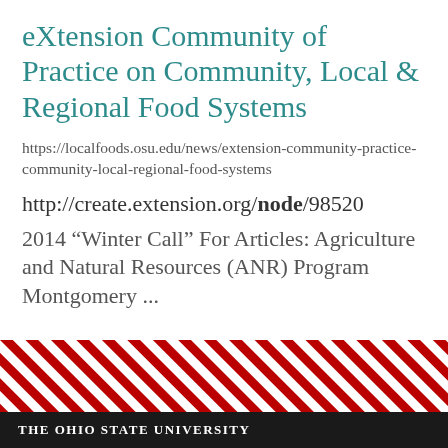eXtension Community of Practice on Community, Local & Regional Food Systems
https://localfoods.osu.edu/news/extension-community-practice-community-local-regional-food-systems
http://create.extension.org/node/98520
2014 “Winter Call” For Articles: Agriculture and Natural Resources (ANR) Program Montgomery ...
[Figure (other): Diagonal red and white striped decorative band, Ohio State University branding element]
The Ohio State University